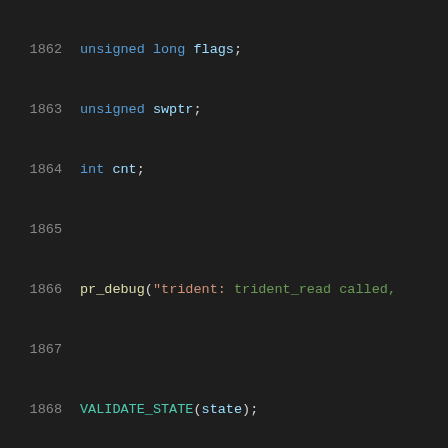Source code listing lines 1862-1883, C kernel driver code
1862    unsigned long flags;
1863    unsigned swptr;
1864    int cnt;
1865    (blank)
1866    pr_debug("trident: trident_read called,
1867    (blank)
1868    VALIDATE_STATE(state);
1869    (blank)
1870    if (dmabuf->mapped)
1871        return -ENXIO;
1872    if (!access_ok(VERIFY_WRITE, buffer, co
1873        return -EFAULT;
1874    (blank)
1875    mutex_lock(&state->sem);
1876    if (!dmabuf->ready && (ret = prog_dmabu
1877        goto out;
1878    (blank)
1879    while (count > 0) {
1880        spin_lock_irqsave(&state->card-
1881        if (dmabuf->count > (signed) dm
1882            /* buffer overrun, we a
1883            /* sleep on timeout, re